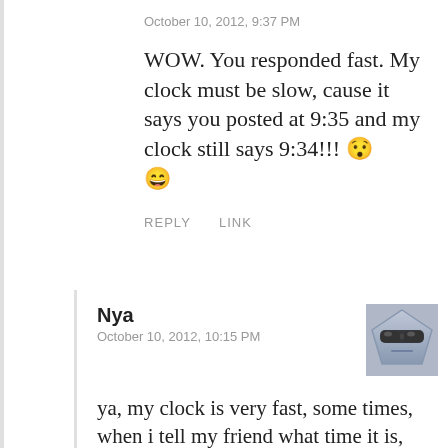October 10, 2012, 9:37 PM
WOW. You responded fast. My clock must be slow, cause it says you posted at 9:35 and my clock still says 9:34!!! 😯 😄
REPLY    LINK
Nya
October 10, 2012, 10:15 PM
ya, my clock is very fast, some times, when i tell my friend what time it is, and i tell them, it is like 10:47 AM and thae look at ther phone and said it is